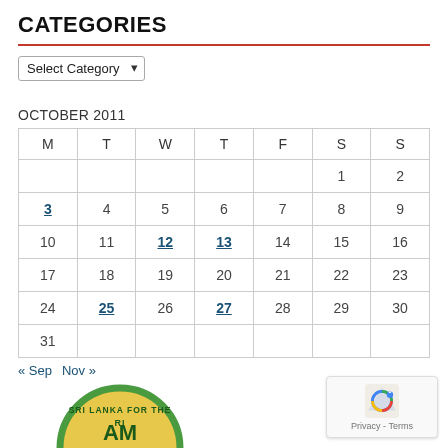CATEGORIES
Select Category
OCTOBER 2011
| M | T | W | T | F | S | S |
| --- | --- | --- | --- | --- | --- | --- |
|  |  |  |  |  | 1 | 2 |
| 3 | 4 | 5 | 6 | 7 | 8 | 9 |
| 10 | 11 | 12 | 13 | 14 | 15 | 16 |
| 17 | 18 | 19 | 20 | 21 | 22 | 23 |
| 24 | 25 | 26 | 27 | 28 | 29 | 30 |
| 31 |  |  |  |  |  |  |
« Sep   Nov »
[Figure (logo): Sri Lanka For The Rich circular logo with green border and yellow background]
[Figure (other): Google reCAPTCHA badge with Privacy and Terms links]